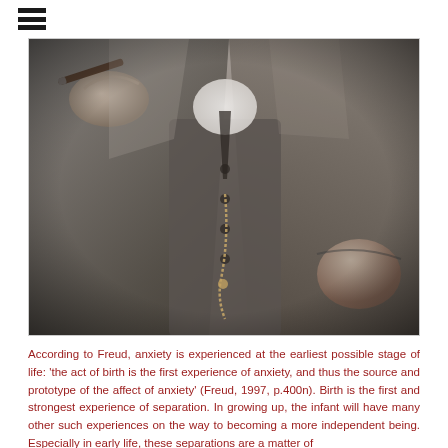☰
[Figure (photo): Black and white close-up photograph of a man in a three-piece suit holding a cigar or pen in his left hand, with a watch chain visible across the vest and his right hand in his pocket.]
According to Freud, anxiety is experienced at the earliest possible stage of life: 'the act of birth is the first experience of anxiety, and thus the source and prototype of the affect of anxiety' (Freud, 1997, p.400n). Birth is the first and strongest experience of separation. In growing up, the infant will have many other such experiences on the way to becoming a more independent being. Especially in early life, these separations are a matter of